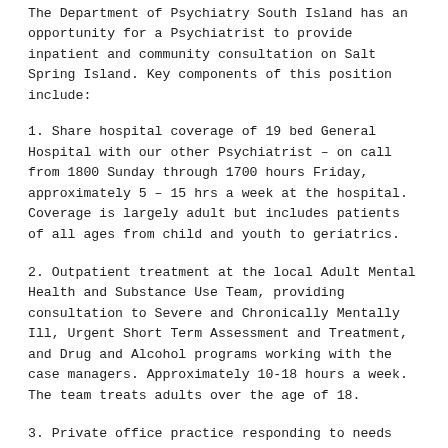The Department of Psychiatry South Island has an opportunity for a Psychiatrist to provide inpatient and community consultation on Salt Spring Island. Key components of this position include:
1. Share hospital coverage of 19 bed General Hospital with our other Psychiatrist – on call from 1800 Sunday through 1700 hours Friday, approximately 5 – 15 hrs a week at the hospital. Coverage is largely adult but includes patients of all ages from child and youth to geriatrics.
2. Outpatient treatment at the local Adult Mental Health and Substance Use Team, providing consultation to Severe and Chronically Mentally Ill, Urgent Short Term Assessment and Treatment, and Drug and Alcohol programs working with the case managers. Approximately 10-18 hours a week. The team treats adults over the age of 18.
3. Private office practice responding to needs for